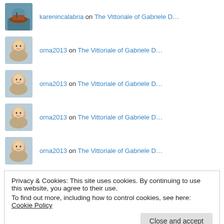karenincalabria on The Vittoriale of Gabriele D…
orna2013 on The Vittoriale of Gabriele D…
orna2013 on The Vittoriale of Gabriele D…
orna2013 on The Vittoriale of Gabriele D…
orna2013 on The Vittoriale of Gabriele D…
Privacy & Cookies: This site uses cookies. By continuing to use this website, you agree to their use. To find out more, including how to control cookies, see here: Cookie Policy
Close and accept
July 2021